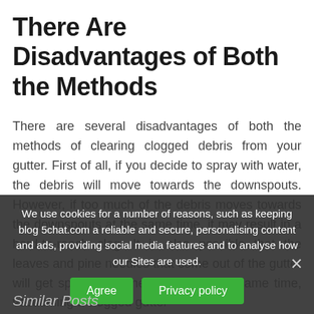There Are Disadvantages of Both the Methods
There are several disadvantages of both the methods of clearing clogged debris from your gutter. First of all, if you decide to spray with water, the debris will move towards the downspouts. However, if too much of the debris moves towards the downspouts at the same time, it may result in a hard-to-reach clog. It is also possible that the leaves and pine needles that come out of the gutter will get sprayed on the ground. At the same time, vacuuming a clogged gutter
We use cookies for a number of reasons, such as keeping blog 5chat.com a reliable and secure, personalising content and ads, providing social media features and to analyse how our Sites are used.
Similar Posts